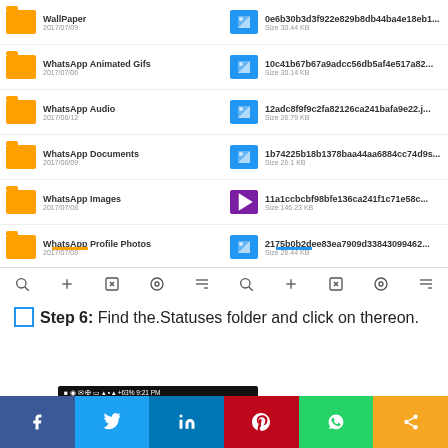[Figure (screenshot): File manager split view showing WhatsApp folders on the left (WallPaper, WhatsApp Animated Gifs, WhatsApp Audio, WhatsApp Documents, WhatsApp Images, WhatsApp Profile Photos, WhatsApp Video) and image/video files with hash names on the right, with toolbar at bottom]
Step 6: Find the .Statuses folder and click on thereon.
[Figure (screenshot): Android smartphone status bar showing back arrow navigation and three-dot menu on dark background, time 9:21 PM]
[Figure (infographic): Social sharing buttons row: Facebook, Twitter, LinkedIn, Pinterest, WhatsApp, Share]